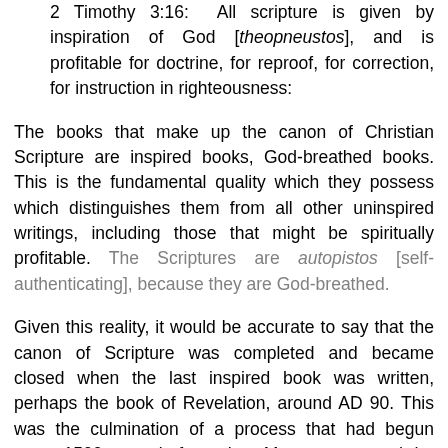2 Timothy 3:16: All scripture is given by inspiration of God [theopneustos], and is profitable for doctrine, for reproof, for correction, for instruction in righteousness:
The books that make up the canon of Christian Scripture are inspired books, God-breathed books. This is the fundamental quality which they possess which distinguishes them from all other uninspired writings, including those that might be spiritually profitable. The Scriptures are autopistos [self-authenticating], because they are God-breathed.
Given this reality, it would be accurate to say that the canon of Scripture was completed and became closed when the last inspired book was written, perhaps the book of Revelation, around AD 90. This was the culmination of a process that had begun some 1500 years before when Moses composed the Pentateuch. It would also be appropriate to say that this canon has existed since its completion,